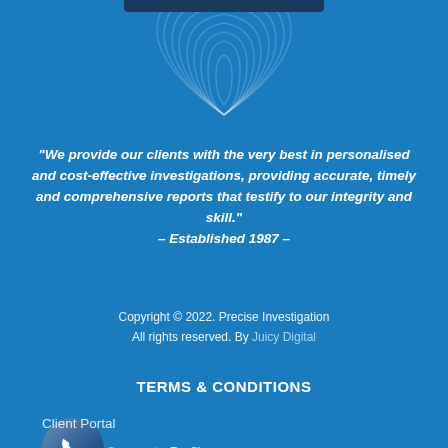[Figure (illustration): Fingerprint graphic with concentric arc lines on blue background, partially cut off at top of page, with a dark navy bar at the very top]
“We provide our clients with the very best in personalised and cost-effective investigations, providing accurate, timely and comprehensive reports that testify to our integrity and skill.” – Established 1987 –
Copyright © 2022. Precise Investigation
All rights reserved. By Juicy Digital
TERMS & CONDITIONS
Client Portal
Corporate Profile
Terms and Conditions